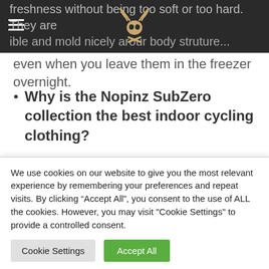freshness without being too soft or too hard. They are flexible and mold nicely around your body structure...
even when you leave them in the freezer overnight.
Why is the Nopinz SubZero collection the best indoor cycling clothing?
The Nopinz SubZero collection is the best indoor cycling outfit because it is specifically designed for indoor cycling and spinning. While other brands offer so-called indoor bike wear by just using light fabrics,
We use cookies on our website to give you the most relevant experience by remembering your preferences and repeat visits. By clicking “Accept All”, you consent to the use of ALL the cookies. However, you may visit "Cookie Settings" to provide a controlled consent.